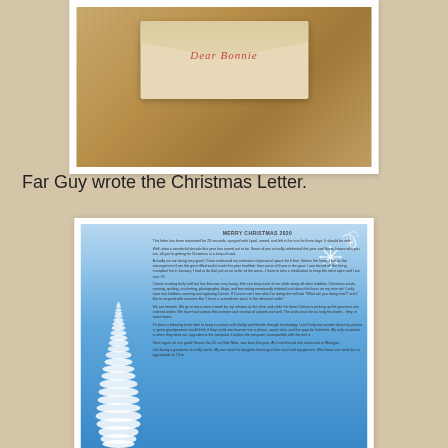[Figure (photo): Photo of an envelope or card with handwritten red script text on a sandy/wood grain background, displayed with white border frame]
Far Guy wrote the Christmas Letter.
[Figure (photo): Christmas letter document with blue sky background, white decorative tree on left, snowflake decoration top right, and 'MERRY CHRISTMAS 2020' heading with several paragraphs of text]